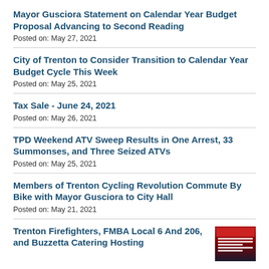Mayor Gusciora Statement on Calendar Year Budget Proposal Advancing to Second Reading
Posted on: May 27, 2021
City of Trenton to Consider Transition to Calendar Year Budget Cycle This Week
Posted on: May 25, 2021
Tax Sale - June 24, 2021
Posted on: May 26, 2021
TPD Weekend ATV Sweep Results in One Arrest, 33 Summonses, and Three Seized ATVs
Posted on: May 25, 2021
Members of Trenton Cycling Revolution Commute By Bike with Mayor Gusciora to City Hall
Posted on: May 21, 2021
Trenton Firefighters, FMBA Local 6 And 206, and Buzzetta Catering Hosting
[Figure (photo): Thumbnail image for Trenton Firefighters article showing a red and dark poster]